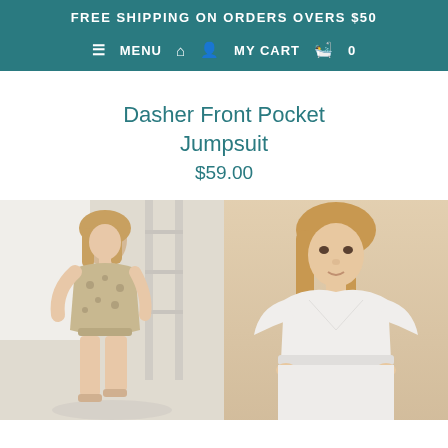FREE SHIPPING ON ORDERS OVERS $50
☰ MENU 🏠 👤 MY CART 🛍 0
Dasher Front Pocket Jumpsuit
$59.00
[Figure (photo): Two product photos side by side: left shows a blonde female model wearing a floral/patterned beige romper in a white interior setting with a ladder; right shows a blonde female model wearing a white wrap jumpsuit with flutter sleeves against a warm beige background.]